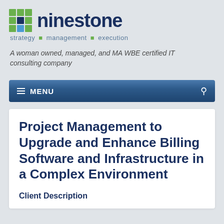[Figure (logo): Ninestone logo with green grid icon and dark blue 'ninestone' wordmark]
strategy · management · execution
A woman owned, managed, and MA WBE certified IT consulting company
≡  MENU
Project Management to Upgrade and Enhance Billing Software and Infrastructure in a Complex Environment
Client Description